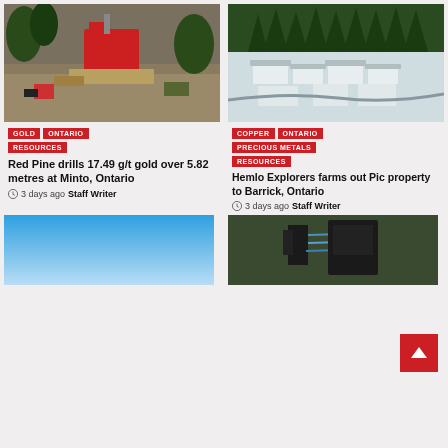[Figure (photo): Aerial view of drilling equipment and machinery in a forest clearing]
GOLD | ONTARIO | RESOURCES
Red Pine drills 17.49 g/t gold over 5.82 metres at Minto, Ontario
3 days ago  Staff Writer
[Figure (photo): Aerial winter view of camp buildings covered in snow surrounded by pine trees]
COPPER | ONTARIO | PRECIOUS METALS | RESOURCES
Hemlo Explorers farms out Pic property to Barrick, Ontario
3 days ago  Staff Writer
[Figure (photo): Blue gradient sky photo (partial)]
[Figure (photo): Dark green outdoor scene with person and equipment (partial)]